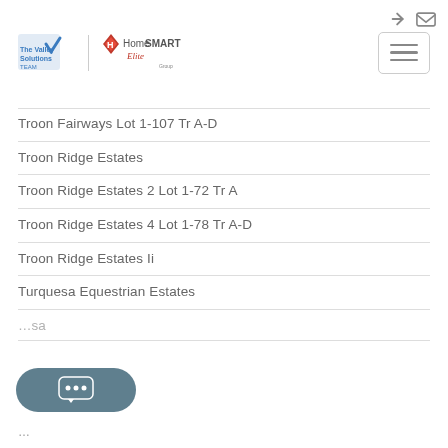[Figure (logo): The Valley Solutions Team and HomeSmart Elite logos]
Troon Fairways Lot 1-107 Tr A-D
Troon Ridge Estates
Troon Ridge Estates 2 Lot 1-72 Tr A
Troon Ridge Estates 4 Lot 1-78 Tr A-D
Troon Ridge Estates Ii
Turquesa Equestrian Estates
...sa
[Figure (other): Chat button with three dots]